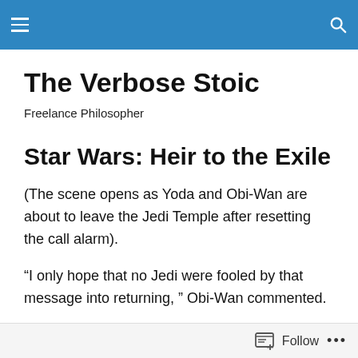The Verbose Stoic — navigation bar
The Verbose Stoic
Freelance Philosopher
Star Wars: Heir to the Exile
(The scene opens as Yoda and Obi-Wan are about to leave the Jedi Temple after resetting the call alarm).
“I only hope that no Jedi were fooled by that message into returning, ” Obi-Wan commented.
“Well, at least one did”, came a voice from off to their left,
Follow